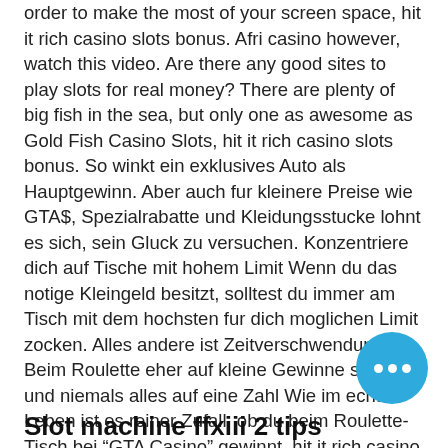order to make the most of your screen space, hit it rich casino slots bonus. Afri casino however, watch this video. Are there any good sites to play slots for real money? There are plenty of big fish in the sea, but only one as awesome as Gold Fish Casino Slots, hit it rich casino slots bonus. So winkt ein exklusives Auto als Hauptgewinn. Aber auch fur kleinere Preise wie GTA$, Spezialrabatte und Kleidungsstucke lohnt es sich, sein Gluck zu versuchen. Konzentriere dich auf Tische mit hohem Limit Wenn du das notige Kleingeld besitzt, solltest du immer am Tisch mit dem hochsten fur dich moglichen Limit zocken. Alles andere ist Zeitverschwendung. Beim Roulette eher auf kleine Gewinne setzen und niemals alles auf eine Zahl Wie im echten Leben ist es reiner Zufall, ob du beim Roulette-Tisch bei "GTA Casino" gewinnt, hit it rich casino slots bonus.
Slot machine ffxiii 2 tips